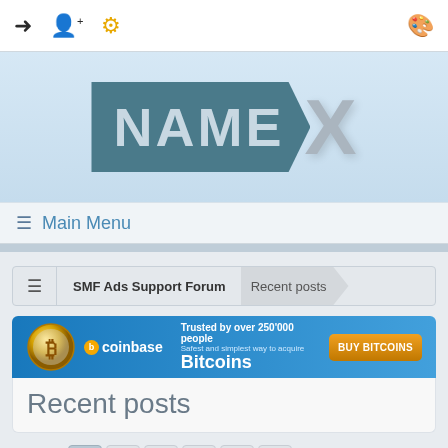Toolbar with login, add user, settings, and palette icons
[Figure (logo): NAMEX logo: teal badge with white bold text NAME followed by large grey X letter]
≡  Main Menu
[Figure (screenshot): Breadcrumb navigation bar: hamburger icon, SMF Ads Support Forum, Recent posts arrow]
[Figure (infographic): Coinbase advertisement banner: Bitcoin coin image, coinbase branding, Trusted by over 250000 people, Safest and simplest way to acquire Bitcoins, BUY BITCOINS button]
Recent posts
Pages: 1  2  3  ...  10  >